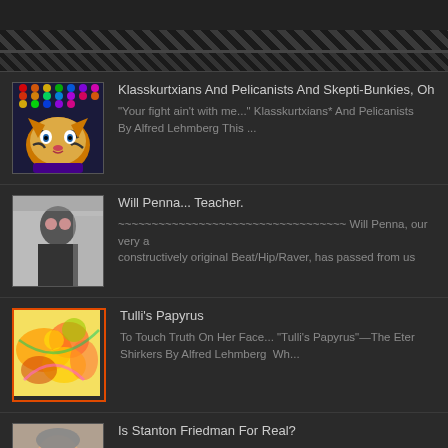[Figure (screenshot): Top navigation bar with dark hatched pattern]
Klasskurtxians And Pelicanists And Skepti-Bunkies, Oh My
"Your fight ain't with me..." Klasskurtxians* And Pelicanists By Alfred Lehmberg This ...
Will Penna... Teacher.
~~~~~~~~~~~~~~~~~~~~~~~~~~~~~~~~~~ Will Penna, our very a constructively original Beat/Hip/Raver, has passed from us
Tulli's Papyrus
To Touch Truth On Her Face... "Tulli's Papyrus"—The Eter Shirkers By Alfred Lehmberg  Wh...
Is Stanton Friedman For Real?
Is Stanton Friedman For Real? By Alfred Lehmberg In 200 touted his headlined UFO show, ostensibly, as ...
"UFO's In Particular"